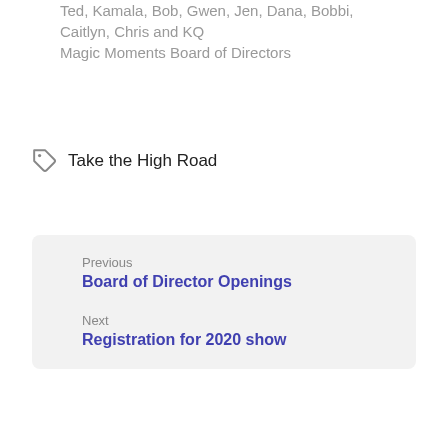Ted, Kamala, Bob, Gwen, Jen, Dana, Bobbi, Caitlyn, Chris and KQ
Magic Moments Board of Directors
Take the High Road
Previous
Board of Director Openings
Next
Registration for 2020 show